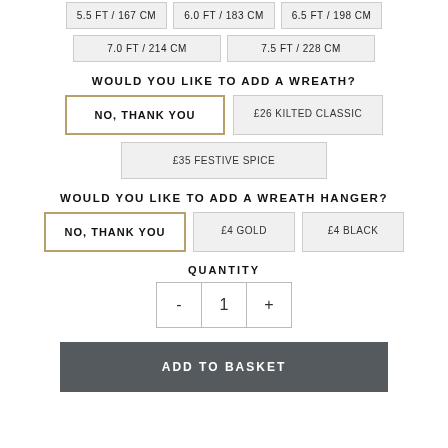5.5 FT / 167 CM
6.0 FT / 183 CM
6.5 FT / 198 CM
7.0 FT / 214 CM
7.5 FT / 228 CM
WOULD YOU LIKE TO ADD A WREATH?
NO, THANK YOU
£26 KILTED CLASSIC
£35 FESTIVE SPICE
WOULD YOU LIKE TO ADD A WREATH HANGER?
NO, THANK YOU
£4 GOLD
£4 BLACK
QUANTITY
- 1 +
ADD TO BASKET